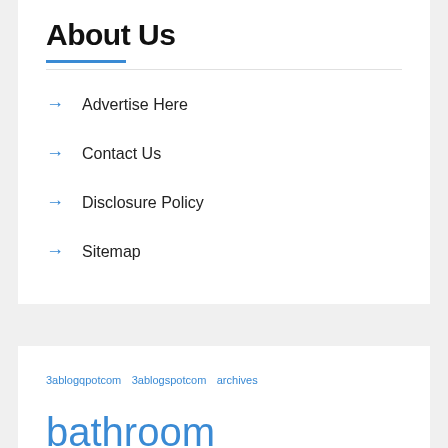About Us
Advertise Here
Contact Us
Disclosure Policy
Sitemap
3ablogqpotcom  3ablogspotcom  archives  bathroom  bathrooms  beautiful  concept  concepts  decor  decorating  design  designs